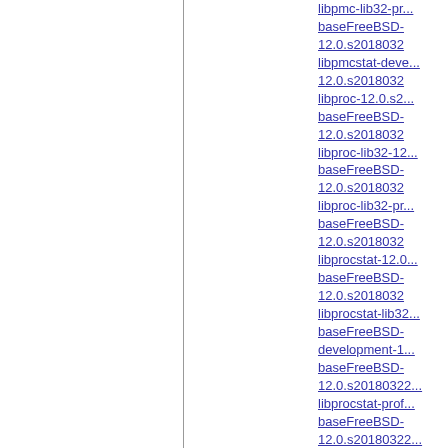libpmc-lib32-pr...
baseFreeBSD-
12.0.s2018032
libpmcstat-deve...
12.0.s2018032
libproc-12.0.s2...
baseFreeBSD-
12.0.s2018032
libproc-lib32-12...
baseFreeBSD-
12.0.s2018032
libproc-lib32-pr...
baseFreeBSD-
12.0.s2018032
libprocstat-12.0...
baseFreeBSD-
12.0.s2018032
libprocstat-lib32...
baseFreeBSD-
development-1...
baseFreeBSD-
12.0.s20180322...
libprocstat-prof...
baseFreeBSD-
12.0.s20180322...
libradius-develo...
12.0.s2018032
libradius-lib32-...
baseFreeBSD-
12.0.s2018032
libradius-lib32-p...
12.0.s2018032
libradius-profiles...
baseFreeBSD-
baseFreeBSD-
12.0.s2018032
librc-lib32-12.0...
baseFreeBSD-
12.0.s2018032
librc-lib32-profil...
baseFreeBSD-